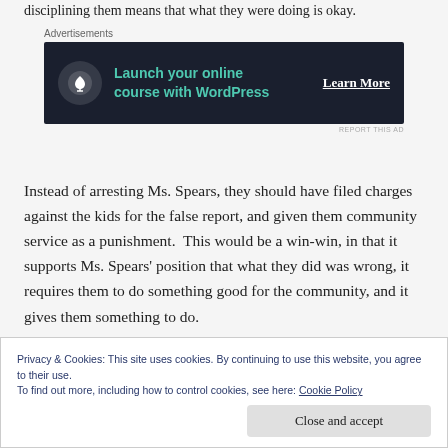disciplining them means that what they were doing is okay.
[Figure (other): Advertisement banner: dark navy background with bonsai tree icon, teal text 'Launch your online course with WordPress', white 'Learn More' button link]
Instead of arresting Ms. Spears, they should have filed charges against the kids for the false report, and given them community service as a punishment.  This would be a win-win, in that it supports Ms. Spears' position that what they did was wrong, it requires them to do something good for the community, and it gives them something to do.
Privacy & Cookies: This site uses cookies. By continuing to use this website, you agree to their use.
To find out more, including how to control cookies, see here: Cookie Policy